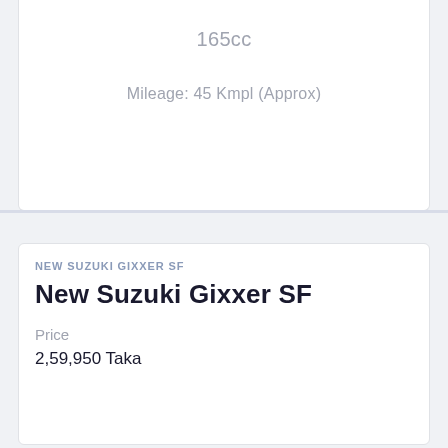165cc
Mileage: 45 Kmpl (Approx)
NEW SUZUKI GIXXER SF
New Suzuki Gixxer SF
Price
2,59,950 Taka
155 cc
Mileage: 42 Kmpl (Approx)